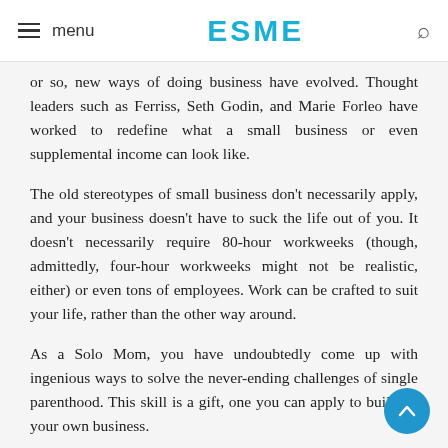menu  ESME  [search]
or so, new ways of doing business have evolved. Thought leaders such as Ferriss, Seth Godin, and Marie Forleo have worked to redefine what a small business or even supplemental income can look like.
The old stereotypes of small business don't necessarily apply, and your business doesn't have to suck the life out of you. It doesn't necessarily require 80-hour workweeks (though, admittedly, four-hour workweeks might not be realistic, either) or even tons of employees. Work can be crafted to suit your life, rather than the other way around.
As a Solo Mom, you have undoubtedly come up with ingenious ways to solve the never-ending challenges of single parenthood. This skill is a gift, one you can apply to building your own business.